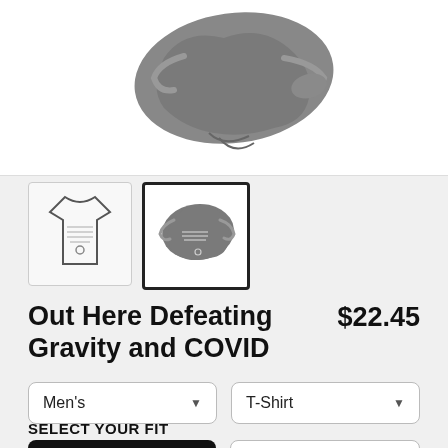[Figure (photo): Product photo of a dark grey folded t-shirt on a white background]
[Figure (thumbnail-strip): Two product thumbnails: left shows a line art/sketch version, right shows the grey t-shirt photo (currently selected)]
Out Here Defeating Gravity and COVID
$22.45
Men's dropdown selector
T-Shirt dropdown selector
SELECT YOUR FIT
$22.45 Regular (active/selected fit)
$22.45 Classic (inactive fit)